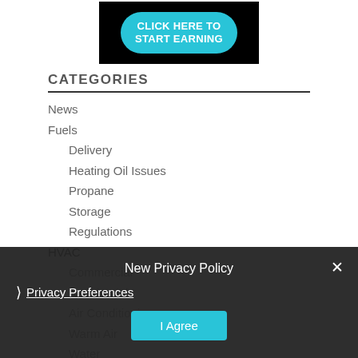[Figure (illustration): Black banner with a cyan rounded button that reads CLICK HERE TO START EARNING in bold white uppercase text]
CATEGORIES
News
Fuels
Delivery
Heating Oil Issues
Propane
Storage
Regulations
HVAC
Commercial
Residential
Air Conditioning
Warm Air
Water
Hydronic
New Privacy Policy
Privacy Preferences
I Agree